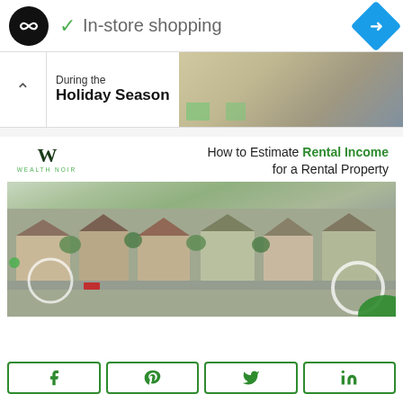[Figure (screenshot): App UI header with circular logo (dark with infinity-like symbol), checkmark and 'In-store shopping' label, and a blue diamond navigation icon]
[Figure (screenshot): Banner ad section with chevron up arrow, text 'Holiday Season' and a partial image of person writing]
[Figure (screenshot): Wealth Noir article preview: logo with W mark, title 'How to Estimate Rental Income for a Rental Property', aerial photo of suburban housing]
[Figure (screenshot): Social sharing buttons row: Facebook, Pinterest, Twitter, LinkedIn - all with green outlines]